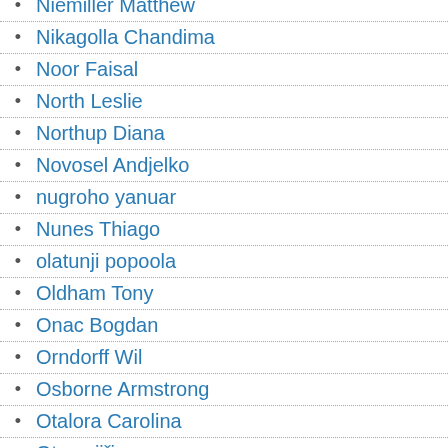Niemiller Matthew
Nikagolla Chandima
Noor Faisal
North Leslie
Northup Diana
Novosel Andjelko
nugroho yanuar
Nunes Thiago
olatunji popoola
Oldham Tony
Onac Bogdan
Orndorff Wil
Osborne Armstrong
Otalora Carolina
Otava jiři
Otero Vladimir
OUALID MELOUAH
OZBAKIR Mertcan
Oztekin Emrah
Özulukale sevim
Ozyurt Nur
Pérez-González Abel